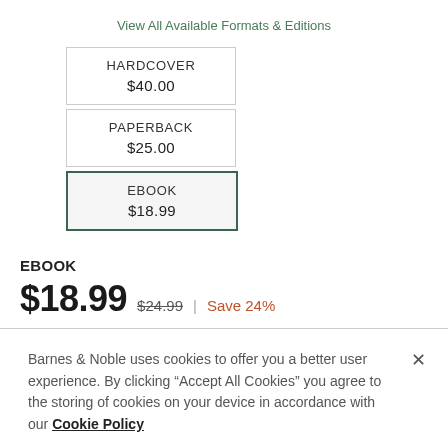View All Available Formats & Editions
| HARDCOVER
$40.00 | PAPERBACK
$25.00 |
| EBOOK
$18.99 |  |
EBOOK
$18.99  $24.99  |  Save 24%
Barnes & Noble uses cookies to offer you a better user experience. By clicking "Accept All Cookies" you agree to the storing of cookies on your device in accordance with our Cookie Policy
Manage Preferences
Accept All Cookies